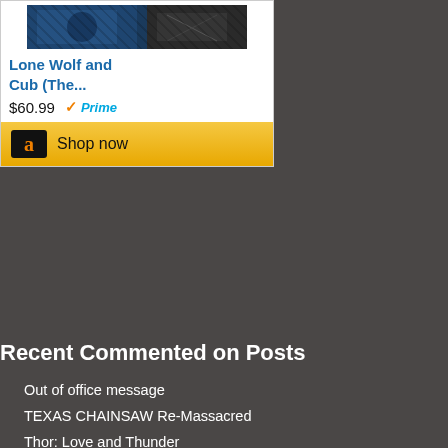[Figure (screenshot): Amazon advertisement widget showing a product image for 'Lone Wolf and Cub (The...)' priced at $60.99 with Prime badge and a 'Shop now' button with Amazon logo on gold background]
Recent Commented on Posts
Out of office message
TEXAS CHAINSAW Re-Massacred
Thor: Love and Thunder
Bullet Train
Prey
Revenge of the Nerds III: The Next Generation
Carter
Gas Food Lodging
Nope
Universal Soldier (30th Anniversary defrost)
A League of Their Own
The Gray Man
Boomerang
Pinocchio
Dual